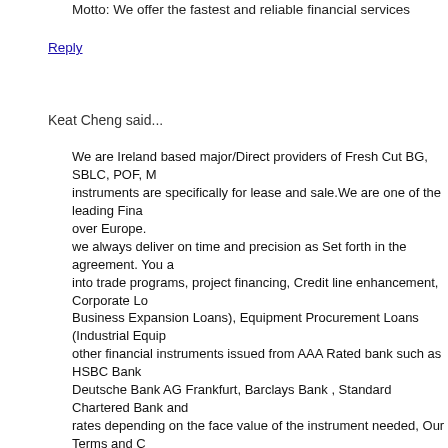Motto: We offer the fastest and reliable financial services
Reply
Keat Cheng said...
We are Ireland based major/Direct providers of Fresh Cut BG, SBLC, POF, M instruments are specifically for lease and sale.We are one of the leading Fina over Europe.
we always deliver on time and precision as Set forth in the agreement. You a into trade programs, project financing, Credit line enhancement, Corporate Lo Business Expansion Loans), Equipment Procurement Loans (Industrial Equip other financial instruments issued from AAA Rated bank such as HSBC Bank Deutsche Bank AG Frankfurt, Barclays Bank , Standard Chartered Bank and rates depending on the face value of the instrument needed, Our Terms and C DESCRIPTION OF INSTRUMENTS:
1. Instrument: Bank Guarantee (BG)/SBLC (Appendix A)
2. Total Face Value: 10M MIN to 50B MAX USD or Euro
3. Issuing Bank: HSBC, Deutsche Bank Frankfurt, UBS or any Top 25 .
4. Age: One Year, One Day
5. Leasing Price: 4+ 1%
6. Sale Price: 32+2%
7. Delivery by SWIFT .
8. Payment: MT103-23
9. Hard Copy: Bonded Courier within 7 banking days.
If you have need for Corporate loans, International project funding, etc. or if y his project or business, We are also affiliated with lenders who specialize on t such as BG, SBLC, POF or MTN, we fund 100% of the face value of the finar Inquiries from agents/ brokers/ intermediaries are also welcomed; do get bac services and for quality service.